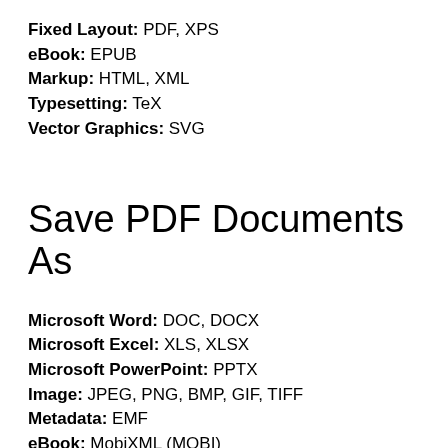Fixed Layout: PDF, XPS
eBook: EPUB
Markup: HTML, XML
Typesetting: TeX
Vector Graphics: SVG
Save PDF Documents As
Microsoft Word: DOC, DOCX
Microsoft Excel: XLS, XLSX
Microsoft PowerPoint: PPTX
Image: JPEG, PNG, BMP, GIF, TIFF
Metadata: EMF
eBook: MobiXML (MOBI)
Text: TXT
Read Formats